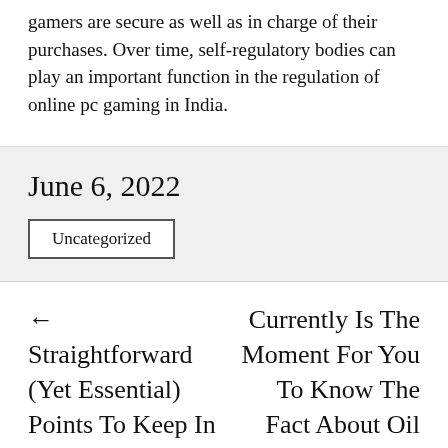gamers are secure as well as in charge of their purchases. Over time, self-regulatory bodies can play an important function in the regulation of online pc gaming in India.
June 6, 2022
Uncategorized
← Straightforward (Yet Essential) Points To Keep In Mind Concerning
Currently Is The Moment For You To Know The Fact About Oil Rates →